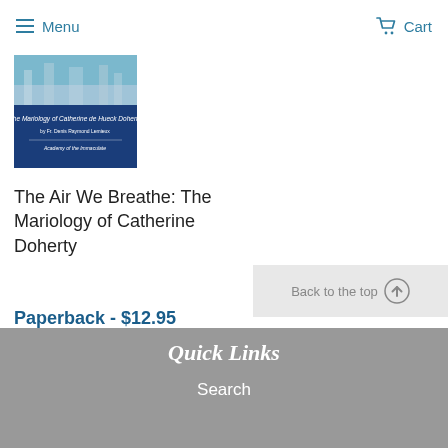Menu  Cart
[Figure (photo): Book cover of 'The Mariology of Catherine de Hueck Doherty' by Fr. Denis Raymond Lemieux, Academy of the Immaculate — blue cover with architectural detail]
The Air We Breathe: The Mariology of Catherine Doherty
Paperback - $12.95
Back to the top
Quick Links
Search